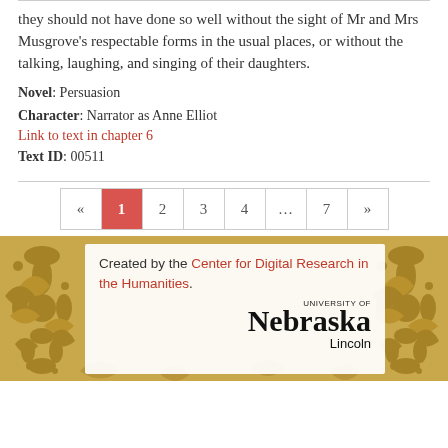they should not have done so well without the sight of Mr and Mrs Musgrove's respectable forms in the usual places, or without the talking, laughing, and singing of their daughters.
Novel: Persuasion
Character: Narrator as Anne Elliot
Link to text in chapter 6
Text ID: 00511
[Figure (other): Pagination navigation bar showing pages: « 1 2 3 4 … 7 » with page 1 highlighted in red]
[Figure (other): Footer banner with gold floral pattern background containing a white card. Text reads: Created by the Center for Digital Research in the Humanities. University of Nebraska Lincoln logo on the right.]